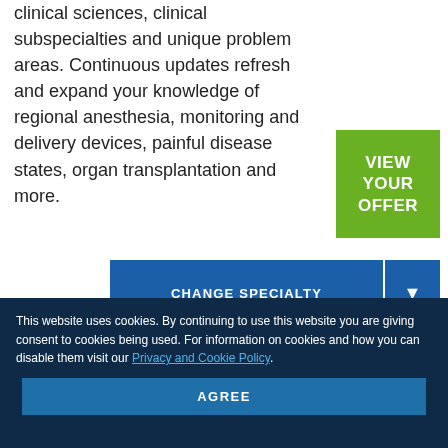clinical sciences, clinical subspecialties and unique problem areas. Continuous updates refresh and expand your knowledge of regional anesthesia, monitoring and delivery devices, painful disease states, organ transplantation and more.
[Figure (other): Green button with white text reading VIEW YOUR OFFER]
[Figure (other): Blue button reading CHANGE SPECIALTY with dropdown arrow]
Recent Anesthesiology CME/CE Learning Topics
This website uses cookies. By continuing to use this website you are giving consent to cookies being used. For information on cookies and how you can disable them visit our Privacy and Cookie Policy.
[Figure (other): Blue AGREE button in cookie consent bar]